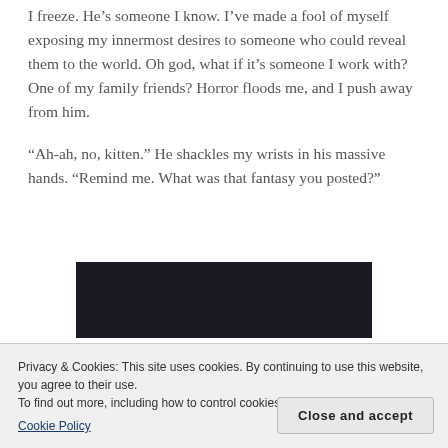I freeze. He's someone I know. I've made a fool of myself exposing my innermost desires to someone who could reveal them to the world. Oh god, what if it's someone I work with? One of my family friends? Horror floods me, and I push away from him.
“Ah-ah, no, kitten.” He shackles my wrists in his massive hands. “Remind me. What was that fantasy you posted?”
[Figure (other): Dark/black rectangular image block]
Privacy & Cookies: This site uses cookies. By continuing to use this website, you agree to their use.
To find out more, including how to control cookies, see here:
Cookie Policy
Close and accept